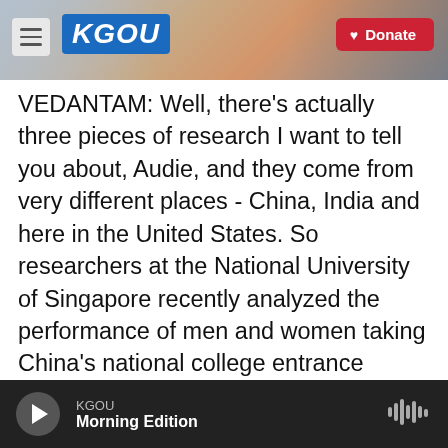KGOU — Donate
VEDANTAM: Well, there's actually three pieces of research I want to tell you about, Audie, and they come from very different places - China, India and here in the United States. So researchers at the National University of Singapore recently analyzed the performance of men and women taking China's national college entrance exam. Now, a month before the exam in conducted, there is a mock exam. And the researchers did something very simple and very clever. They compared the scores of 8,000 men and women in the mock exam versus the real exam. And they find that young women
KGOU — Morning Edition